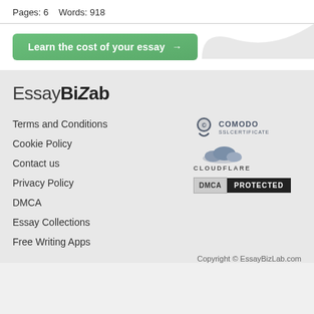Pages: 6    Words: 918
[Figure (other): Green gradient button: Learn the cost of your essay →]
[Figure (logo): EssayBizLab logo in bold sans-serif font]
Terms and Conditions
Cookie Policy
Contact us
Privacy Policy
DMCA
Essay Collections
Free Writing Apps
[Figure (logo): Comodo SSL Certificate badge]
[Figure (logo): Cloudflare logo badge]
[Figure (logo): DMCA PROTECTED badge]
Copyright © EssayBizLab.com